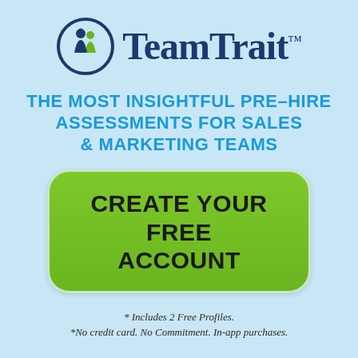[Figure (logo): TeamTrait logo: circular icon with stylized figures in navy and green, followed by 'TeamTrait' in navy serif font with trademark symbol]
THE MOST INSIGHTFUL PRE-HIRE ASSESSMENTS FOR SALES & MARKETING TEAMS
CREATE YOUR FREE ACCOUNT
* Includes 2 Free Profiles.
*No credit card. No Commitment. In-app purchases.